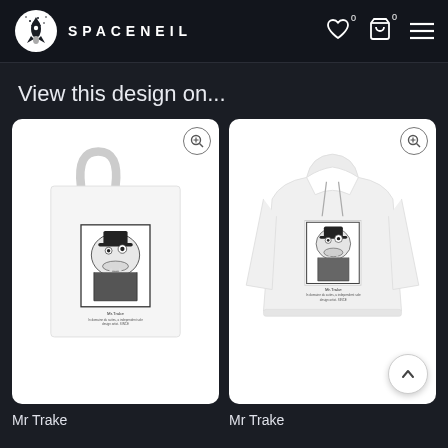SPACENEIL
View this design on...
[Figure (photo): White tote bag with Mr Trake walrus illustration wearing a bowler hat]
[Figure (photo): White hoodie sweatshirt with Mr Trake walrus illustration wearing a bowler hat]
Mr Trake
Mr Trake